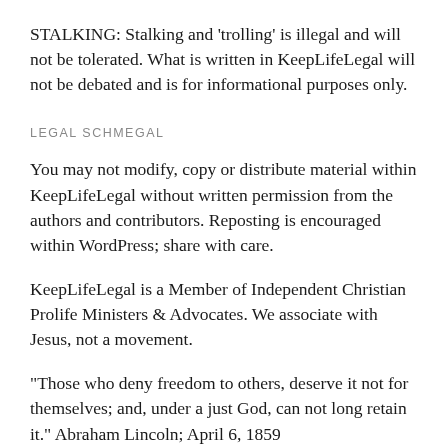STALKING: Stalking and 'trolling' is illegal and will not be tolerated. What is written in KeepLifeLegal will not be debated and is for informational purposes only.
LEGAL SCHMEGAL
You may not modify, copy or distribute material within KeepLifeLegal without written permission from the authors and contributors. Reposting is encouraged within WordPress; share with care.
KeepLifeLegal is a Member of Independent Christian Prolife Ministers & Advocates. We associate with Jesus, not a movement.
"Those who deny freedom to others, deserve it not for themselves; and, under a just God, can not long retain it." Abraham Lincoln; April 6, 1859
'Congress shall make no law respecting an establishment of religion, or prohibiting the free exercise thereof; abridging the freedom of speech, or of the